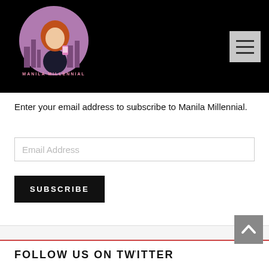[Figure (logo): Manila Millennial logo: circular badge with illustration of a red-haired woman holding a phone against a pink/purple city background, with text 'MANILA MILLENNIAL' around the circle]
[Figure (illustration): Hamburger/menu icon button (three horizontal lines) on a light gray square background, positioned in the top-right of the black header bar]
Enter your email address to subscribe to Manila Millennial.
[Figure (screenshot): Email Address input text field with light gray placeholder text]
[Figure (screenshot): Black SUBSCRIBE button with white uppercase text]
[Figure (screenshot): Scroll-to-top button (gray square with white upward arrow chevron) in lower right]
FOLLOW US ON TWITTER